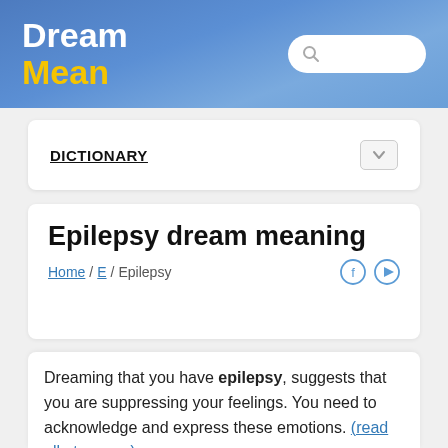Dream Mean
DICTIONARY
Epilepsy dream meaning
Home / E / Epilepsy
Dreaming that you have epilepsy, suggests that you are suppressing your feelings. You need to acknowledge and express these emotions. (read all at source).